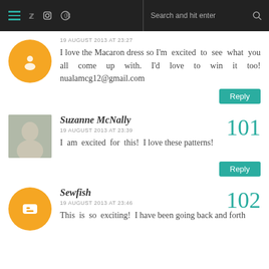Navigation header with hamburger menu, twitter, instagram, pinterest icons and search bar
19 AUGUST 2013 AT 23:27
I love the Macaron dress so I'm excited to see what you all come up with. I'd love to win it too! nualamcg12@gmail.com
Reply
Suzanne McNally
19 AUGUST 2013 AT 23:39
I am excited for this! I love these patterns!
101
Reply
Sewfish
19 AUGUST 2013 AT 23:46
This is so exciting! I have been going back and forth
102